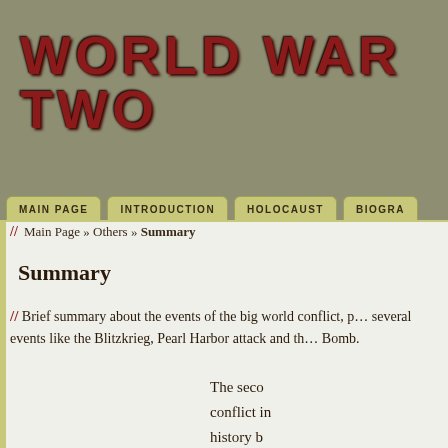WORLD WAR TWO
MAIN PAGE | INTRODUCTION | HOLOCAUST | BIOGRA
// Main Page » Others » Summary
Summary
// Brief summary about the events of the big world conflict, passing through several events like the Blitzkrieg, Pearl Harbor attack and the Atomic Bomb.
The seco conflict in history b September when Nazi